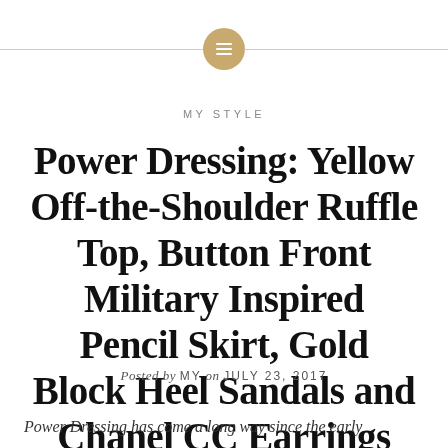[Figure (logo): Gold circular icon with horizontal lines (menu/paragraph symbol) flanked by horizontal gray lines on each side]
MY STYLE
Power Dressing: Yellow Off-the-Shoulder Ruffle Top, Button Front Military Inspired Pencil Skirt, Gold Block Heel Sandals and Chanel CC Earrings
Posted by MY on JULY 23, 2017
Power Dressing has come a long way since the early